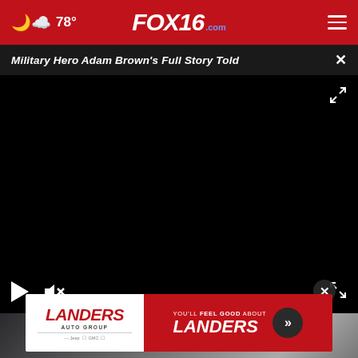78° FOX16.com
Military Hero Adam Brown's Full Story Told
[Figure (screenshot): Black video player area with play button, mute icon, and fullscreen icon on dark background]
[Figure (photo): Partially visible close-up photo of person with white hair and glasses]
[Figure (other): Landers Auto Group advertisement banner: 'YOU'LL FEEL GOOD ABOUT LANDERS' on red background with arrow button]